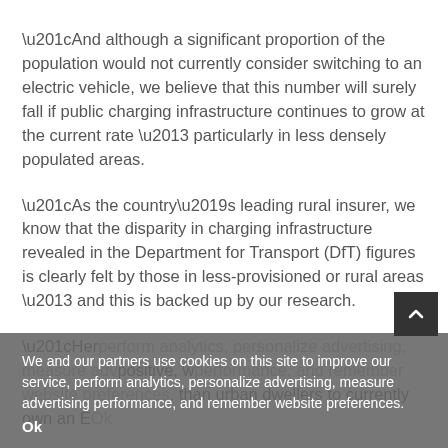“And although a significant proportion of the population would not currently consider switching to an electric vehicle, we believe that this number will surely fall if public charging infrastructure continues to grow at the current rate – particularly in less densely populated areas.
“As the country’s leading rural insurer, we know that the disparity in charging infrastructure revealed in the Department for Transport (DfT) figures is clearly felt by those in less-provisioned or rural areas – and this is backed up by our research.
“Her… positive, w… dwellers to currently own an E…
We and our partners use cookies on this site to improve our service, perform analytics, personalize advertising, measure advertising performance, and remember website preferences.
Ok